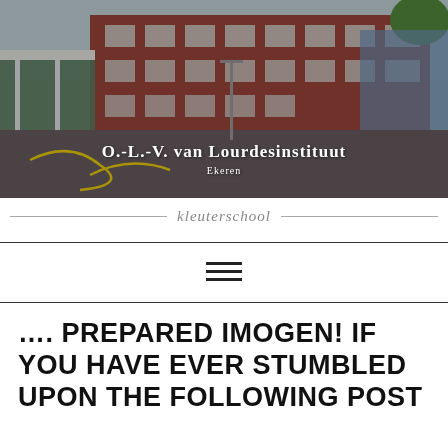[Figure (photo): Exterior photograph of O.-L.-V. van Lourdesinstituut school building in Ekeren, showing a red brick school building with a covered walkway and a school courtyard with yellow painted lines on the ground.]
O.-L.-V. van Lourdesinstituut
Ekeren
kleuterschool
…. PREPARED IMOGEN! IF YOU HAVE EVER STUMBLED UPON THE FOLLOWING POST